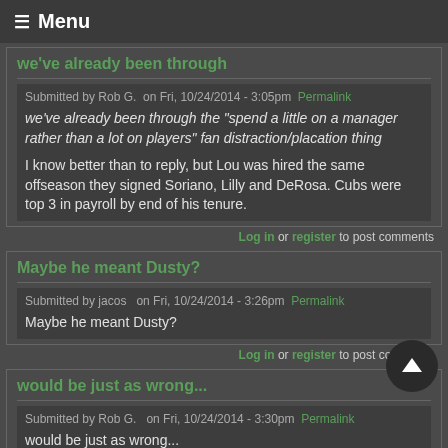≡ Menu
we've already been through
Submitted by Rob G.  on Fri, 10/24/2014 - 3:05pm  Permalink
we've already been through the "spend a little on a manager rather than a lot on players" fan distraction/placation thing
I know better than to reply, but Lou was hired the same offseason they signed Soriano, Lilly and DeRosa. Cubs were top 3 in payroll by end of his tenure.
Log in or register to post comments
Maybe he meant Dusty?
Submitted by jacos  on Fri, 10/24/2014 - 3:26pm  Permalink
Maybe he meant Dusty?
Log in or register to post comments
would be just as wrong...
Submitted by Rob G.  on Fri, 10/24/2014 - 3:30pm  Permalink
would be just as wrong...